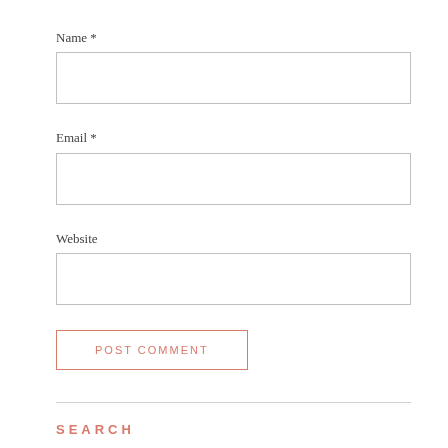Name *
[Figure (other): Empty text input field for Name]
Email *
[Figure (other): Empty text input field for Email]
Website
[Figure (other): Empty text input field for Website]
POST COMMENT
SEARCH